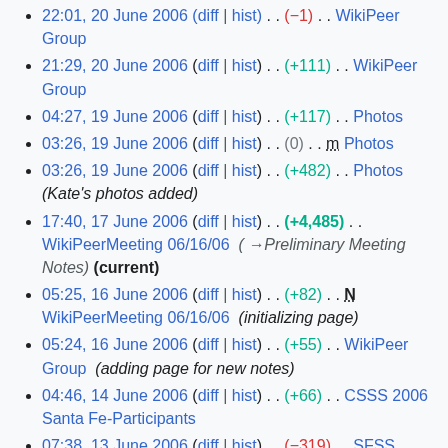21:29, 20 June 2006 (diff | hist) . . (−1) . . WikiPeer Group [truncated at top]
21:29, 20 June 2006 (diff | hist) . . (+111) . . WikiPeer Group
04:27, 19 June 2006 (diff | hist) . . (+117) . . Photos
03:26, 19 June 2006 (diff | hist) . . (0) . . m Photos
03:26, 19 June 2006 (diff | hist) . . (+482) . . Photos (Kate's photos added)
17:40, 17 June 2006 (diff | hist) . . (+4,485) . . WikiPeerMeeting 06/16/06 (→Preliminary Meeting Notes) (current)
05:25, 16 June 2006 (diff | hist) . . (+82) . . N WikiPeerMeeting 06/16/06 (initializing page)
05:24, 16 June 2006 (diff | hist) . . (+55) . . WikiPeer Group (adding page for new notes)
04:46, 14 June 2006 (diff | hist) . . (+66) . . CSSS 2006 Santa Fe-Participants
07:38, 13 June 2006 (diff | hist) . . (−319) . . SFSS 2006